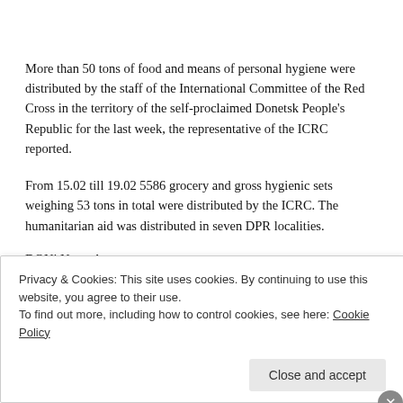More than 50 tons of food and means of personal hygiene were distributed by the staff of the International Committee of the Red Cross in the territory of the self-proclaimed Donetsk People's Republic for the last week, the representative of the ICRC reported.
From 15.02 till 19.02 5586 grocery and gross hygienic sets weighing 53 tons in total were distributed by the ICRC. The humanitarian aid was distributed in seven DPR localities.
DONi News Agency
https://savedonbasspeople.info/en/news/icrc-distributed-more-
Privacy & Cookies: This site uses cookies. By continuing to use this website, you agree to their use.
To find out more, including how to control cookies, see here: Cookie Policy
Close and accept